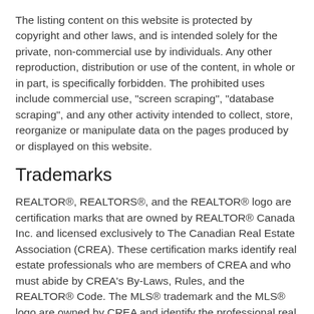The listing content on this website is protected by copyright and other laws, and is intended solely for the private, non-commercial use by individuals. Any other reproduction, distribution or use of the content, in whole or in part, is specifically forbidden. The prohibited uses include commercial use, "screen scraping", "database scraping", and any other activity intended to collect, store, reorganize or manipulate data on the pages produced by or displayed on this website.
Trademarks
REALTOR®, REALTORS®, and the REALTOR® logo are certification marks that are owned by REALTOR® Canada Inc. and licensed exclusively to The Canadian Real Estate Association (CREA). These certification marks identify real estate professionals who are members of CREA and who must abide by CREA's By-Laws, Rules, and the REALTOR® Code. The MLS® trademark and the MLS® logo are owned by CREA and identify the professional real estate services provided by members of CREA.
Liability and Warranty Disclaimer
The information contained on this website is based in whole or